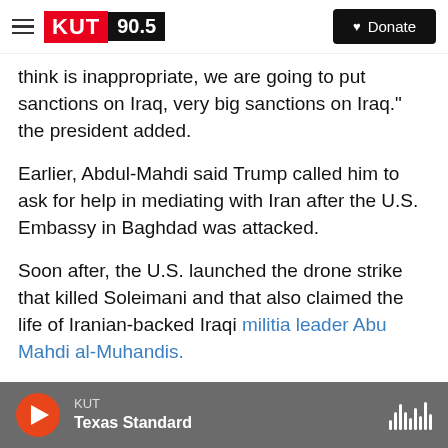KUT 90.5 — Donate
think is inappropriate, we are going to put sanctions on Iraq, very big sanctions on Iraq." the president added.
Earlier, Abdul-Mahdi said Trump called him to ask for help in mediating with Iran after the U.S. Embassy in Baghdad was attacked.
Soon after, the U.S. launched the drone strike that killed Soleimani and that also claimed the life of Iranian-backed Iraqi militia leader Abu Mahdi al-Muhandis.
Sunni and Kurdish members of parliament
KUT — Texas Standard